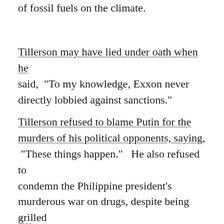of fossil fuels on the climate.
Tillerson may have lied under oath when he said, “To my knowledge, Exxon never directly lobbied against sanctions.”
Tillerson refused to blame Putin for the murders of his political opponents, saying, “These things happen.” He also refused to condemn the Philippine president’s murderous war on drugs, despite being grilled on it by Marco Rubio, of all people.
“...